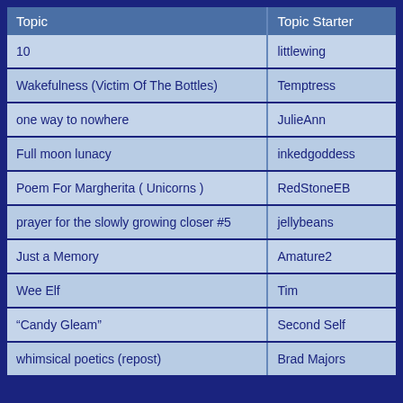| Topic | Topic Starter |
| --- | --- |
| 10 | littlewing |
| Wakefulness (Victim Of The Bottles) | Temptress |
| one way to nowhere | JulieAnn |
| Full moon lunacy | inkedgoddess |
| Poem For Margherita ( Unicorns ) | RedStoneEB |
| prayer for the slowly growing closer #5 | jellybeans |
| Just a Memory | Amature2 |
| Wee Elf | Tim |
| “Candy Gleam” | Second Self |
| whimsical poetics (repost) | Brad Majors |